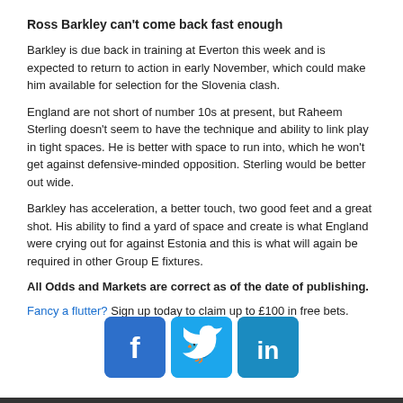Ross Barkley can't come back fast enough
Barkley is due back in training at Everton this week and is expected to return to action in early November, which could make him available for selection for the Slovenia clash.
England are not short of number 10s at present, but Raheem Sterling doesn't seem to have the technique and ability to link play in tight spaces. He is better with space to run into, which he won't get against defensive-minded opposition. Sterling would be better out wide.
Barkley has acceleration, a better touch, two good feet and a great shot. His ability to find a yard of space and create is what England were crying out for against Estonia and this is what will again be required in other Group E fixtures.
All Odds and Markets are correct as of the date of publishing.
Fancy a flutter? Sign up today to claim up to £100 in free bets.
[Figure (other): Social media icons: Facebook, Twitter, LinkedIn]